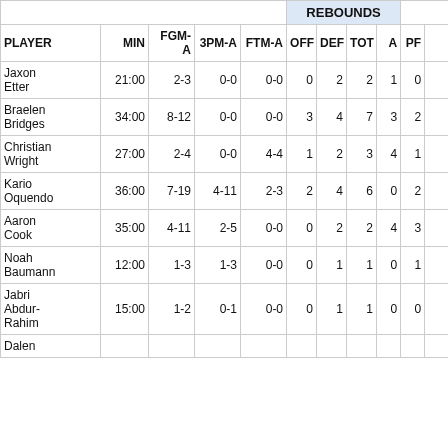| PLAYER | MIN | FGM-A | 3PM-A | FTM-A | OFF | DEF | TOT | A | PF | (more) |
| --- | --- | --- | --- | --- | --- | --- | --- | --- | --- | --- |
| Jaxon Etter | 21:00 | 2-3 | 0-0 | 0-0 | 0 | 2 | 2 | 1 | 0 |  |
| Braelen Bridges | 34:00 | 8-12 | 0-0 | 0-0 | 3 | 4 | 7 | 3 | 2 |  |
| Christian Wright | 27:00 | 2-4 | 0-0 | 4-4 | 1 | 2 | 3 | 4 | 1 |  |
| Kario Oquendo | 36:00 | 7-19 | 4-11 | 2-3 | 2 | 4 | 6 | 0 | 2 |  |
| Aaron Cook | 35:00 | 4-11 | 2-5 | 0-0 | 0 | 2 | 2 | 4 | 3 |  |
| Noah Baumann | 12:00 | 1-3 | 1-3 | 0-0 | 0 | 1 | 1 | 0 | 1 |  |
| Jabri Abdur-Rahim | 15:00 | 1-2 | 0-1 | 0-0 | 0 | 1 | 1 | 0 | 0 |  |
| Dalen ... |  |  |  |  |  |  |  |  |  |  |